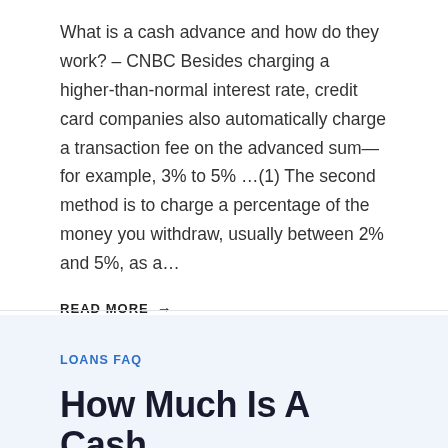What is a cash advance and how do they work? – CNBC Besides charging a higher-than-normal interest rate, credit card companies also automatically charge a transaction fee on the advanced sum—for example, 3% to 5% …(1) The second method is to charge a percentage of the money you withdraw, usually between 2% and 5%, as a…
READ MORE →
LOANS FAQ
How Much Is A Cash Advance At Arfou